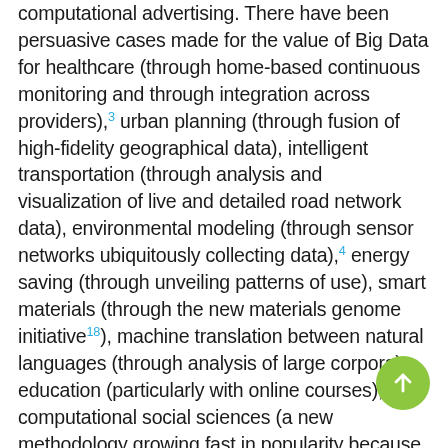computational advertising. There have been persuasive cases made for the value of Big Data for healthcare (through home-based continuous monitoring and through integration across providers),³ urban planning (through fusion of high-fidelity geographical data), intelligent transportation (through analysis and visualization of live and detailed road network data), environmental modeling (through sensor networks ubiquitously collecting data),⁴ energy saving (through unveiling patterns of use), smart materials (through the new materials genome initiative¹⁸), machine translation between natural languages (through analysis of large corpora), education (particularly with online courses),² computational social sciences (a new methodology growing fast in popularity because of the dramatically lowered cost of obtaining data),¹⁴ systemic risk analysis in finance (through integrated analysis of a web of contracts to find dependencies between financial entities),⁸ homeland security (through analysis of social networks and financial transactions of possible